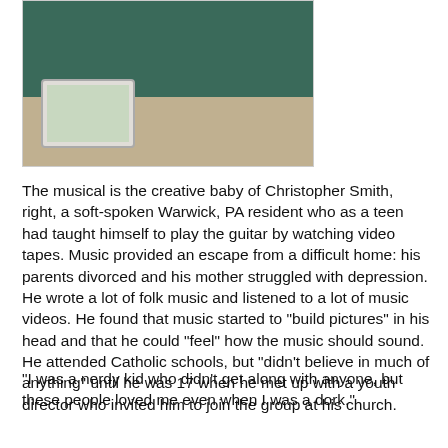[Figure (photo): Photo of Christopher Smith, a man in a teal/dark green polo shirt looking down at a tablet device (iPad)]
The musical is the creative baby of Christopher Smith, right, a soft-spoken Warwick, PA resident who as a teen had taught himself to play the guitar by watching video tapes. Music provided an escape from a difficult home: his parents divorced and his mother struggled with depression. He wrote a lot of folk music and listened to a lot of music videos. He found that music started to "build pictures" in his head and that he could "feel" how the music should sound.
He attended Catholic schools, but "didn't believe in much of anything" until he was 17 when he met up with a youth director who invited him to join the group at his church.
"I was a nerdy kid who didn't get along with anyone, but these people loved me even when I was a dork."
The experience led him to start attending their Presbyterian church and a personal faith in God. In 1996, helping with a